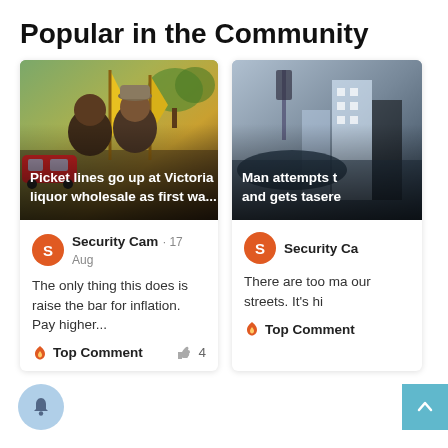Popular in the Community
[Figure (screenshot): Card with image of two people holding yellow flags at a picket line. Caption: 'Picket lines go up at Victoria liquor wholesale as first wa...']
Security Cam · 17 Aug
The only thing this does is raise the bar for inflation. Pay higher...
🔥 Top Comment    👍 4
[Figure (screenshot): Card with image of a street scene. Caption: 'Man attempts t and gets tasere']
Security Ca
There are too ma our streets. It's hi
🔥 Top Comment